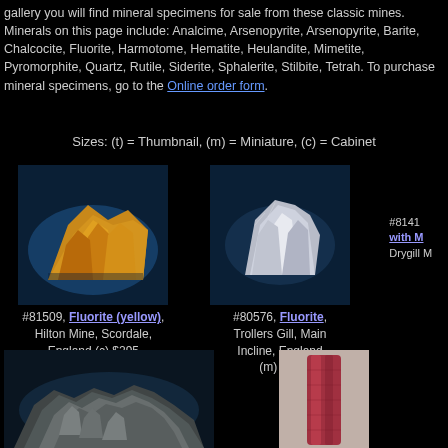gallery you will find mineral specimens for sale from these classic mines. Minerals on this page include: Analcime, Arsenopyrite, Arsenopyrite, Barite, Chalcocite, Fluorite, Harmotome, Hematite, Heulandite, Mimetite, Pyromorphite, Quartz, Rutile, Siderite, Sphalerite, Stilbite, Tetrah. To purchase mineral specimens, go to the Online order form.
Sizes: (t) = Thumbnail, (m) = Miniature, (c) = Cabinet
[Figure (photo): Yellow fluorite mineral specimen from Hilton Mine, Scordale, England]
#81509, Fluorite (yellow), Hilton Mine, Scordale, England (c) $295
[Figure (photo): White/clear fluorite mineral specimen from Trollers Gill, Main Incline, England]
#80576, Fluorite, Trollers Gill, Main Incline, England (m) $36
#81412, with Drygill M
[Figure (photo): Gray metallic mineral specimen]
[Figure (photo): Red/pink tourmaline or similar cylindrical crystal specimen]